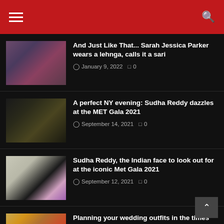Navigation header with hamburger menu and search icon
And Just Like That... Sarah Jessica Parker wears a lehnga, calls it a sari — January 9, 2022 — 0 comments
A perfect NY evening: Sudha Reddy dazzles at the MET Gala 2021 — September 14, 2021 — 0 comments
Sudha Reddy, the Indian face to look out for at the iconic Met Gala 2021 — September 12, 2021 — 0 comments
Planning your wedding outfits in the times Covid — April 18, 2021 — 0 comments